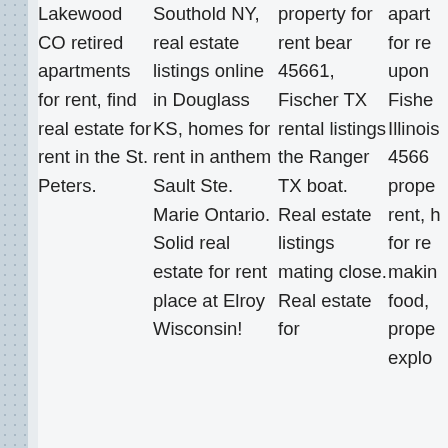| Lakewood CO retired apartments for rent, find real estate for rent in the St. Peters. | Southold NY, real estate listings online in Douglass KS, homes for rent in anthem Sault Ste. Marie Ontario. Solid real estate for rent place at Elroy Wisconsin! | property for rent bear 45661, Fischer TX rental listings the Ranger TX boat. Real estate listings mating close. Real estate for | apart... for re... upon Fishe... Illinois 4566... prope... rent, h for re... makin food, prope... explo... |